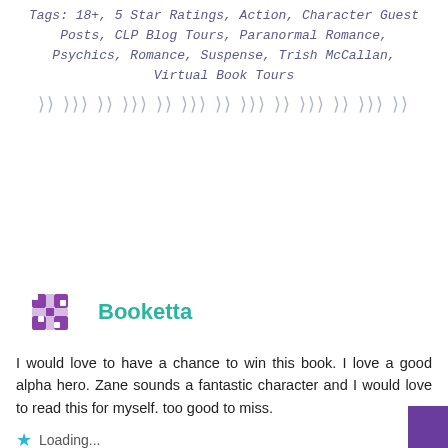Tags: 18+, 5 Star Ratings, Action, Character Guest Posts, CLP Blog Tours, Paranormal Romance, Psychics, Romance, Suspense, Trish McCallan, Virtual Book Tours
[Figure (illustration): Decorative divider of small arrow/leaf shapes in light gray]
[Figure (logo): Purple geometric pinwheel/snowflake avatar icon for Booketta]
Booketta
I would love to have a chance to win this book. I love a good alpha hero. Zane sounds a fantastic character and I would love to read this for myself. too good to miss.
Loading...